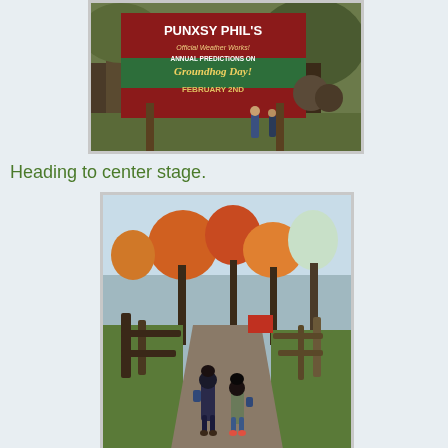[Figure (photo): Photo of a sign reading 'Punxsy Phil's Official Weather Works! Annual Predictions on Groundhog Day! February 2nd' with trees and two small figurines/dolls in front of it.]
Heading to center stage.
[Figure (photo): Photo of two small dolls/figurines walking along a gravel path lined with a wooden fence, with colorful autumn trees in the background.]